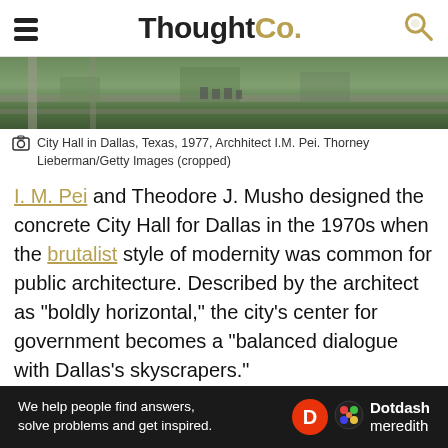ThoughtCo.
[Figure (photo): Aerial view of City Hall in Dallas, Texas, 1977]
City Hall in Dallas, Texas, 1977, Archhitect I.M. Pei. Thorney Lieberman/Getty Images (cropped)
I. M. Pei and Theodore J. Musho designed the concrete City Hall for Dallas in the 1970s when the brutalist style of modernity was common for public architecture. Described by the architect as "boldly horizontal," the city's center for government becomes a "balanced dialogue with Dallas's skyscrapers."
Sloping at a 34 degree angle, each floor of the 560-foot long building is about 9.5 feet wider than the one below it. At 113 feet high, with a top width of 192 feet, the design could be